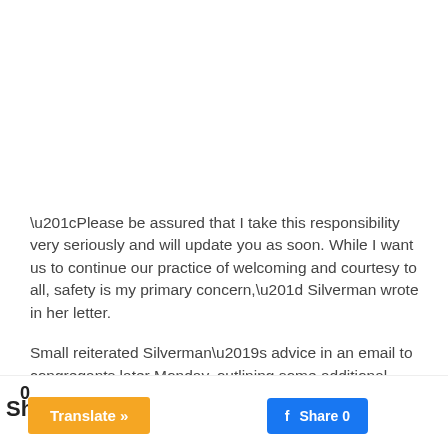“Please be assured that I take this responsibility very seriously and will update you as soon. While I want us to continue our practice of welcoming and courtesy to all, safety is my primary concern,” Silverman wrote in her letter.
Small reiterated Silverman’s advice in an email to congregants later Monday, outlining some additional
Translate »
Share 0